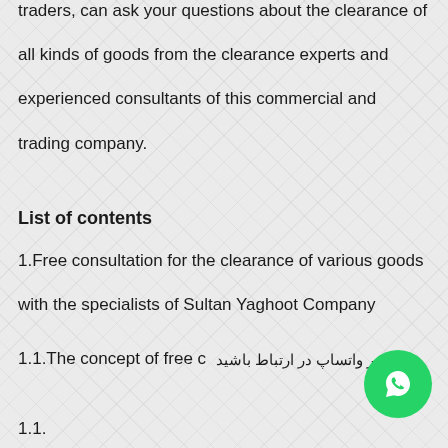traders, can ask your questions about the clearance of all kinds of goods from the clearance experts and experienced consultants of this commercial and trading company.
List of contents
1.Free consultation for the clearance of various goods with the specialists of Sultan Yaghoot Company
1.1.The concept of free c... با ما در واتساپ در ارتباط باشید
1.1.